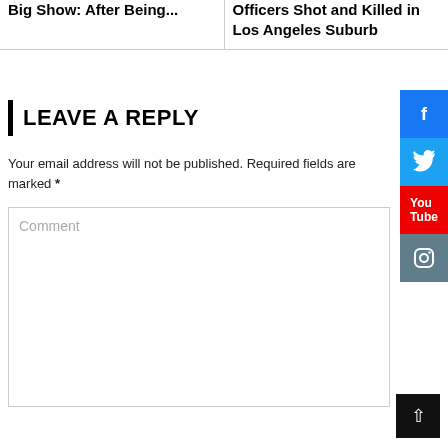Big Show: After Being...
Officers Shot and Killed in Los Angeles Suburb
LEAVE A REPLY
Your email address will not be published. Required fields are marked *
Comment
[Figure (other): Social media sidebar buttons: Facebook (blue), Twitter (blue), YouTube (red), Instagram (grey-blue)]
[Figure (other): Scroll-to-top button, dark background with up arrow]